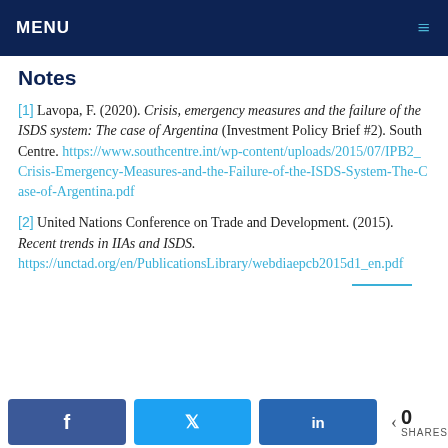MENU
Notes
[1] Lavopa, F. (2020). Crisis, emergency measures and the failure of the ISDS system: The case of Argentina (Investment Policy Brief #2). South Centre. https://www.southcentre.int/wp-content/uploads/2015/07/IPB2_Crisis-Emergency-Measures-and-the-Failure-of-the-ISDS-System-The-Case-of-Argentina.pdf
[2] United Nations Conference on Trade and Development. (2015). Recent trends in IIAs and ISDS. https://unctad.org/en/PublicationsLibrary/webdiaepcb2015d1_en.pdf
0 SHARES